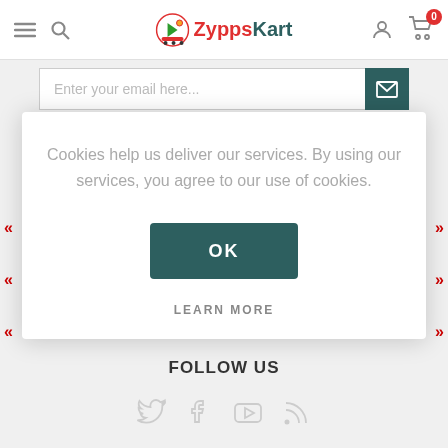[Figure (logo): ZyppsKart logo with shopping cart icon, red and teal colors]
[Figure (screenshot): Email subscription input field with teal submit button showing envelope icon]
Cookies help us deliver our services. By using our services, you agree to our use of cookies.
OK
LEARN MORE
FOLLOW US
[Figure (infographic): Social media icons: Twitter, Facebook, YouTube, RSS feed]